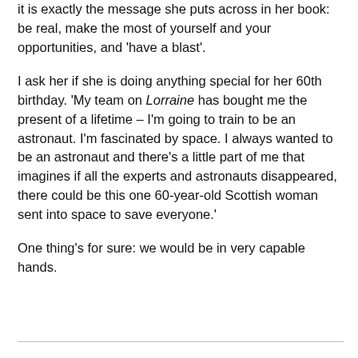it is exactly the message she puts across in her book: be real, make the most of yourself and your opportunities, and 'have a blast'.
I ask her if she is doing anything special for her 60th birthday. 'My team on Lorraine has bought me the present of a lifetime – I'm going to train to be an astronaut. I'm fascinated by space. I always wanted to be an astronaut and there's a little part of me that imagines if all the experts and astronauts disappeared, there could be this one 60-year-old Scottish woman sent into space to save everyone.'
One thing's for sure: we would be in very capable hands.